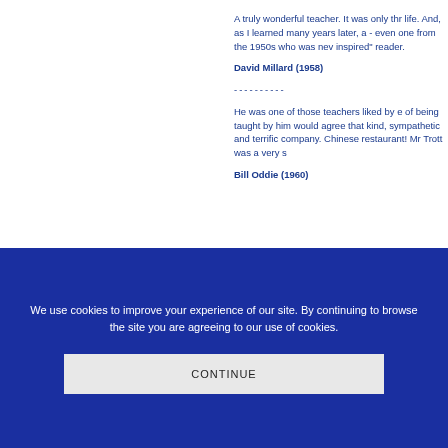A truly wonderful teacher. It was only thr life. And, as I learned many years later, a - even one from the 1950s who was nev inspired" reader.
David Millard (1958)
----------
He was one of those teachers liked by e of being taught by him would agree that kind, sympathetic and terrific company. Chinese restaurant! Mr Trott was a very s
Bill Oddie (1960)
We use cookies to improve your experience of our site. By continuing to browse the site you are agreeing to our use of cookies.
CONTINUE